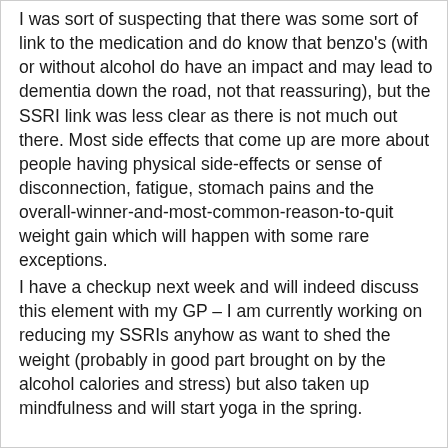I was sort of suspecting that there was some sort of link to the medication and do know that benzo's (with or without alcohol do have an impact and may lead to dementia down the road, not that reassuring), but the SSRI link was less clear as there is not much out there. Most side effects that come up are more about people having physical side-effects or sense of disconnection, fatigue, stomach pains and the overall-winner-and-most-common-reason-to-quit weight gain which will happen with some rare exceptions.
I have a checkup next week and will indeed discuss this element with my GP – I am currently working on reducing my SSRIs anyhow as want to shed the weight (probably in good part brought on by the alcohol calories and stress) but also taken up mindfulness and will start yoga in the spring.